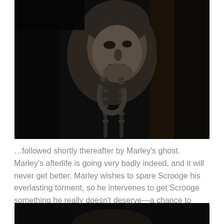[Figure (photo): Black and white still from a film showing a door knocker in the shape of a man's face (Marley's ghost), with chains hanging below it, set against a dark background.]
…followed shortly thereafter by Marley's ghost. Marley's afterlife is going very badly indeed, and it will never get better. Marley wishes to spare Scrooge his everlasting torment, so he intervenes to get Scrooge something he really doesn't deserve—a chance to reform before it's too late.
[Figure (photo): Black and white film still, bottom portion visible — dark scene, partially cropped.]